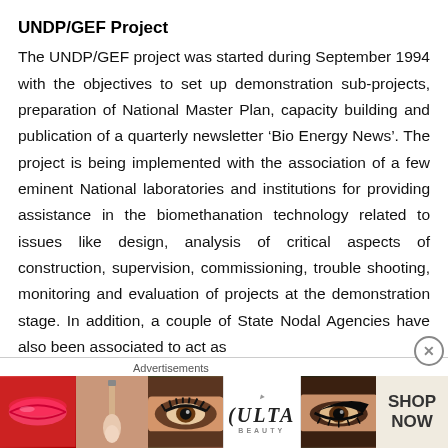UNDP/GEF Project
The UNDP/GEF project was started during September 1994 with the objectives to set up demonstration sub-projects, preparation of National Master Plan, capacity building and publication of a quarterly newsletter ‘Bio Energy News’. The project is being implemented with the association of a few eminent National laboratories and institutions for providing assistance in the biomethanation technology related to issues like design, analysis of critical aspects of construction, supervision, commissioning, trouble shooting, monitoring and evaluation of projects at the demonstration stage. In addition, a couple of State Nodal Agencies have also been associated to act as
[Figure (other): Advertisement banner for ULTA beauty with close button. Shows cosmetics product imagery sections (lips, makeup brush, eye with eyeshadow, ULTA logo, eye with dramatic liner, and SHOP NOW text).]